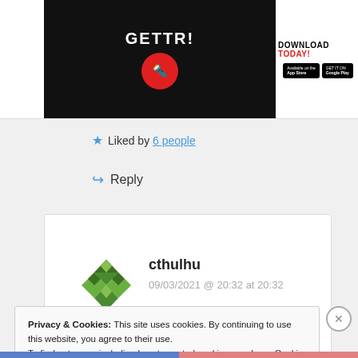[Figure (screenshot): Gettr app promotion banner with dark background, Gettr logo text and torch icon on left, Download Today with App Store and Google Play buttons on right]
★ Liked by 6 people
↪ Reply
cthulhu
09/03/2021 @ 20:32 at 20:32
Privacy & Cookies: This site uses cookies. By continuing to use this website, you agree to their use. To find out more, including how to control cookies, see here: Cookie Policy
Close and accept